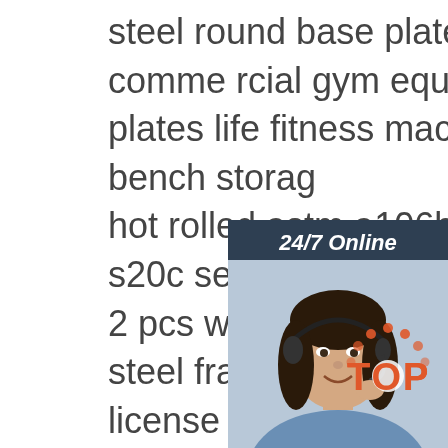steel round base plate tee nut holes
comme rcial gym equipment strength lifting plates life fitness machine health device flat bench storag
hot rolled astm a106b a53 st35 8 ais s20c seamless carbon iron steel tub
2 pcs weather-proof license plate st steel frame car black universal custo license frame
rg316 60cm male smb sma f-type coaxial cable
wholesale household quality non-stick frying pan cookware glass lid 304 stainless steel double layers coating wok
[Figure (photo): Chat widget overlay with photo of woman wearing headset, 24/7 Online header, Click here for free chat text, and QUOTATION orange button]
[Figure (logo): Orange and white TOP logo with dot pattern]